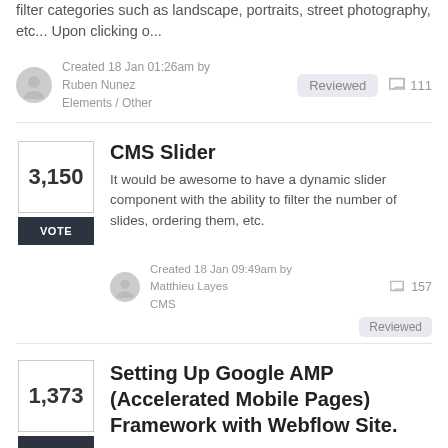filter categories such as landscape, portraits, street photography, etc... Upon clicking o...
Created 18 Jan 01:26am by Ruben Nunez Elements / Other
Reviewed
111
CMS Slider
It would be awesome to have a dynamic slider component with the ability to filter the number of slides, ordering them, etc.
Created 18 Jan 09:49am by Matthieu Layes CMS
157
Reviewed
Setting Up Google AMP (Accelerated Mobile Pages) Framework with Webflow Site.